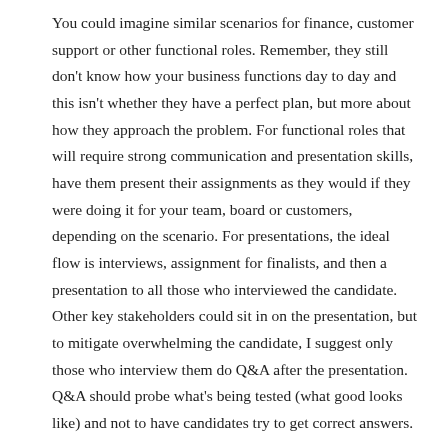You could imagine similar scenarios for finance, customer support or other functional roles. Remember, they still don't know how your business functions day to day and this isn't whether they have a perfect plan, but more about how they approach the problem. For functional roles that will require strong communication and presentation skills, have them present their assignments as they would if they were doing it for your team, board or customers, depending on the scenario. For presentations, the ideal flow is interviews, assignment for finalists, and then a presentation to all those who interviewed the candidate. Other key stakeholders could sit in on the presentation, but to mitigate overwhelming the candidate, I suggest only those who interview them do Q&A after the presentation. Q&A should probe what's being tested (what good looks like) and not to have candidates try to get correct answers.